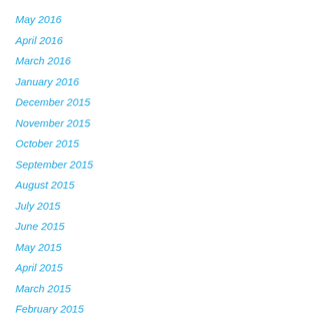May 2016
April 2016
March 2016
January 2016
December 2015
November 2015
October 2015
September 2015
August 2015
July 2015
June 2015
May 2015
April 2015
March 2015
February 2015